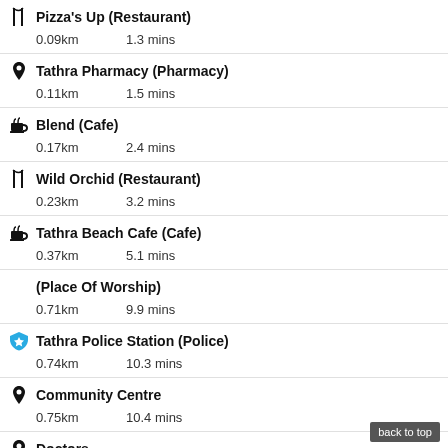Pizza's Up (Restaurant) — 0.09km, 1.3 mins
Tathra Pharmacy (Pharmacy) — 0.11km, 1.5 mins
Blend (Cafe) — 0.17km, 2.4 mins
Wild Orchid (Restaurant) — 0.23km, 3.2 mins
Tathra Beach Cafe (Cafe) — 0.37km, 5.1 mins
(Place Of Worship) — 0.71km, 9.9 mins
Tathra Police Station (Police) — 0.74km, 10.3 mins
Community Centre — 0.75km, 10.4 mins
Doctors — 0.82km, 11.4 mins